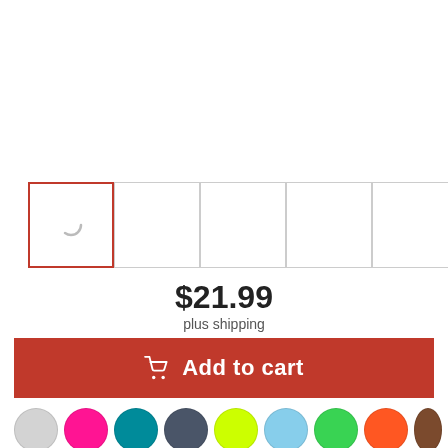[Figure (screenshot): Product image thumbnail row with 5 image placeholders (first selected with red border, showing a loading spinner) and a chevron navigation button]
$21.99
plus shipping
Add to cart
[Figure (infographic): Row of color swatches: light gray, hot pink, teal, dark blue-gray, yellow-green, light blue, green, orange, brown]
Color: navy
S  M  L  XL  2XL  3XL  4XL  5XL